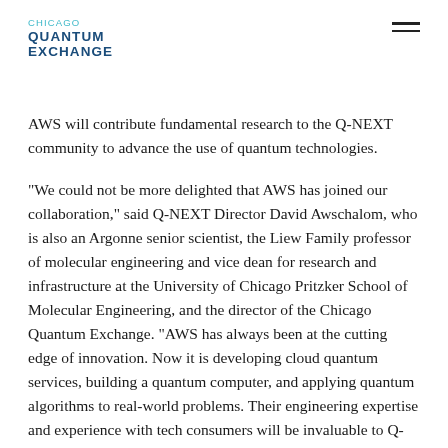CHICAGO QUANTUM EXCHANGE
AWS will contribute fundamental research to the Q-NEXT community to advance the use of quantum technologies.
“We could not be more delighted that AWS has joined our collaboration,” said Q-NEXT Director David Awschalom, who is also an Argonne senior scientist, the Liew Family professor of molecular engineering and vice dean for research and infrastructure at the University of Chicago Pritzker School of Molecular Engineering, and the director of the Chicago Quantum Exchange. “AWS has always been at the cutting edge of innovation. Now it is developing cloud quantum services, building a quantum computer, and applying quantum algorithms to real-world problems. Their engineering expertise and experience with tech consumers will be invaluable to Q-NEXT as we develop next-generation technologies that promise to improve our